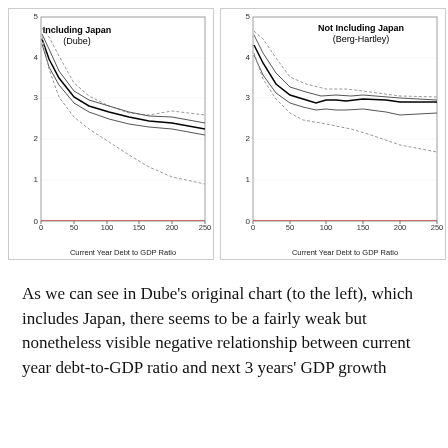[Figure (continuous-plot): Smoothed scatter plot showing relationship between current year debt-to-GDP ratio (x: 0-250) and next 3 years' real GDP growth rate (y: 0-5) including Japan. Multiple lines (central estimate with confidence bands and dashed outlier lines). Trend declines from ~4-5 at low debt to ~2.8 at high debt. Dashed line runs much lower, declining to ~1.7.]
[Figure (continuous-plot): Smoothed scatter plot showing relationship between current year debt-to-GDP ratio (x: 0-250) and next 3 years' real GDP growth rate (y: 0-5) not including Japan. Multiple lines (central estimate with confidence bands). Upper dashed line stays elevated ~3.5-4. Central estimate shows mild negative trend from ~3.5 to ~3.2. Lower dashed line declines to ~2.4.]
As we can see in Dube's original chart (to the left), which includes Japan, there seems to be a fairly weak but nonetheless visible negative relationship between current year debt-to-GDP ratio and next 3 years' GDP growth